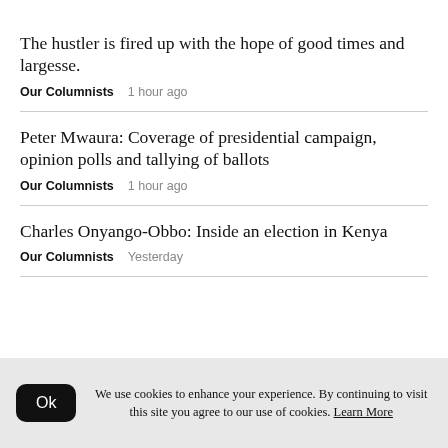The hustler is fired up with the hope of good times and largesse.
Our Columnists   1 hour ago
Peter Mwaura: Coverage of presidential campaign, opinion polls and tallying of ballots
Our Columnists   1 hour ago
Charles Onyango-Obbo: Inside an election in Kenya
Our Columnists   Yesterday
We use cookies to enhance your experience. By continuing to visit this site you agree to our use of cookies. Learn More